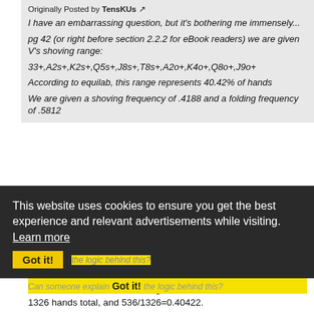Originally Posted by TensKUs
I have an embarrassing question, but it's bothering me immensely...
pg 42 (or right before section 2.2.2 for eBook readers) we are given V's shoving range:
33+,A2s+,K2s+,Q5s+,J8s+,T8s+,A2o+,K4o+,Q8o+,J9o+
According to equilab, this range represents 40.42% of hands
We are given a shoving frequency of .4188 and a folding frequency of .5812
This website uses cookies to ensure you get the best experience and relevant advertisements while visiting. Learn more
Got it!
It seems intuitive to me that shoving frequency should equal the % of hands in V's shoving range, however we are given a .4042 shoving range and .4188 shoving frequency. Can someone explain the logic behind this?
Card removal effects. That range is 536 hands, and there are 1326 hands total, and 536/1326=0.40422.